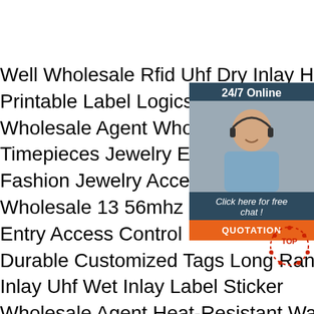Well Wholesale Rfid Uhf Dry Inlay H3 Chip Custom Printable Label Logicstic Management Wholesale Agent Wholesale Jakcom R3f Timepieces Jewelry Eyewear Rings Accessories Fashion Jewelry Accessories Tungsten Ring Wholesale 13 56mhz Rewritable Rfid Tag Entry Access Control Mobile Case Sticker Durable Customized Tags Long Range Uhf Inlay Uhf Wet Inlay Label Sticker Wholesale Agent Heat-Resistant Washable Textile Laundry Soft Tag Garment Towel Professional Production Uhf Rfid Laundry Temperature Different Size Washable Laundry Label Custom Uhf Fabric Textile Woven Cloth Washable Rfid Clothing Laundry Nfc Tag Widely Used 13 56mhz Social Media Nfc Epoxy Rfid Tag Sharing Contact Information Waterproof High Quality Selling Customized Logo Color Animal
[Figure (other): Customer service sidebar with '24/7 Online' header, photo of a woman with headset smiling, 'Click here for free chat!' text, and orange QUOTATION button]
[Figure (logo): TOP badge/logo in red with dots pattern]